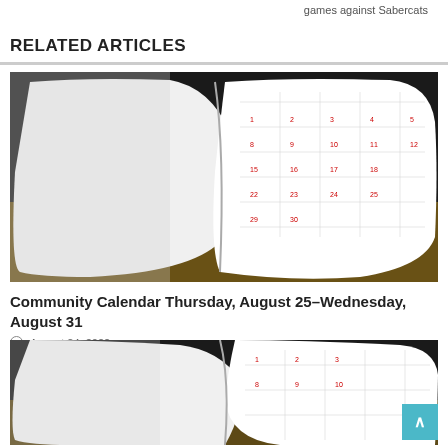games against Sabercats
RELATED ARTICLES
[Figure (photo): Open calendar/planner book showing monthly grid with red date numbers, photographed from an angle on a dark surface]
Community Calendar Thursday, August 25–Wednesday, August 31
August 24, 2022
[Figure (photo): Same open calendar/planner book image, partially visible, cropped at bottom of page]